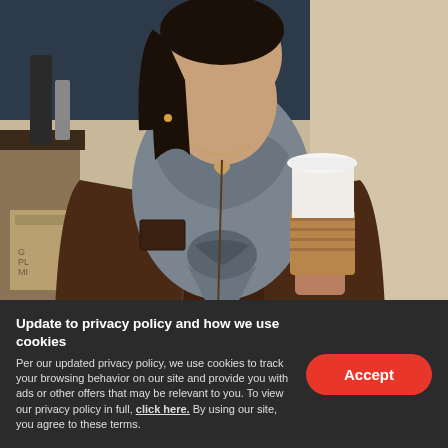[Figure (photo): A woman wearing a brown leather jacket and grey scarf holding a coffee cup with a white lid. She is standing indoors near what appears to be a coffee station. She is wearing a heart necklace and has teal-painted nails.]
Update to privacy policy and how we use cookies
Per our updated privacy policy, we use cookies to track your browsing behavior on our site and provide you with ads or other offers that may be relevant to you. To view our privacy policy in full, click here. By using our site, you agree to these terms.